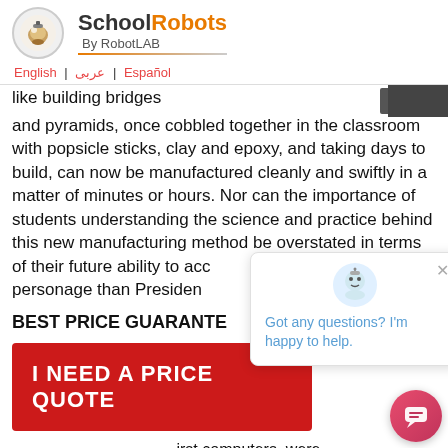SchoolRobots By RobotLAB
English | عربی | Español
like building bridges
and pyramids, once cobbled together in the classroom with popsicle sticks, clay and epoxy, and taking days to build, can now be manufactured cleanly and swiftly in a matter of minutes or hours. Nor can the importance of students understanding the science and practice behind this new manufacturing method be overstated in terms of their future ability to acco... personage than Presiden...
BEST PRICE GUARANTE...
[Figure (illustration): Red button with text: I NEED A PRICE QUOTE]
irst computers, were ... and far more expensive than any school district could
[Figure (illustration): Chat popup with robot avatar saying: Got any questions? I'm happy to help.]
[Figure (illustration): Chat bubble button (bottom right corner, pink/red circular button with chat icon)]